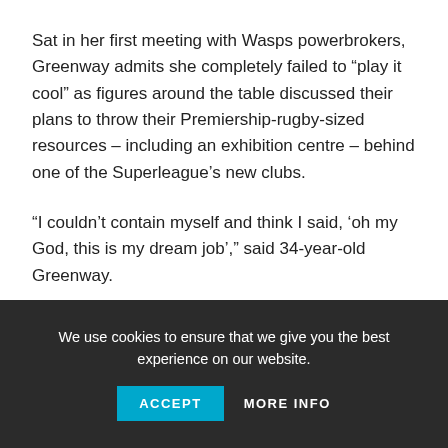Sat in her first meeting with Wasps powerbrokers, Greenway admits she completely failed to “play it cool” as figures around the table discussed their plans to throw their Premiership-rugby-sized resources – including an exhibition centre – behind one of the Superleague’s new clubs.
“I couldn’t contain myself and think I said, ‘oh my God, this is my dream job’,” said 34-year-old Greenway.
“When I was sat there and they were telling me all these ideas of what they wanted to do, that is what I was thinking – this is what I’ve worked towards for 10 or 12 years and I can't believe
We use cookies to ensure that we give you the best experience on our website.